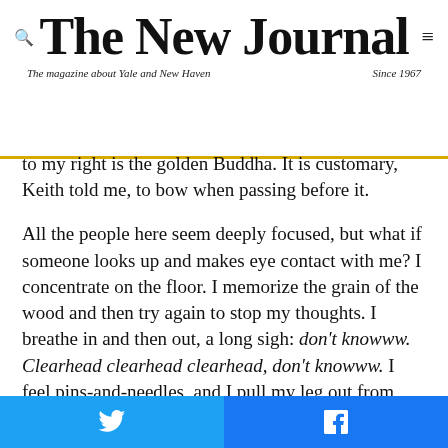The New Journal — The magazine about Yale and New Haven — Since 1967
to my right is the golden Buddha. It is customary, Keith told me, to bow when passing before it.
All the people here seem deeply focused, but what if someone looks up and makes eye contact with me? I concentrate on the floor. I memorize the grain of the wood and then try again to stop my thoughts. I breathe in and then out, a long sigh: don't knowww. Clearhead clearhead clearhead, don't knowww. I feel pins-and-needles, and I pull my leg out from under me—and my mind wanders again. "The sitting is the key," Keith had said, and I feel a little guilty. I can understand why Keith liked training a mind in
Twitter share | Facebook share